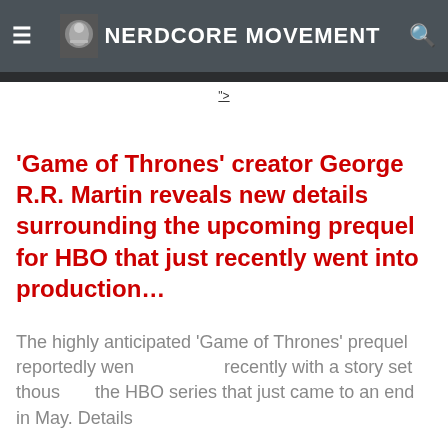≡ NERDCORE MOVEMENT 🔍
">
'Game of Thrones' creator George R.R. Martin reveals new details surrounding the upcoming prequel for HBO that just recently went into production…
The highly anticipated 'Game of Thrones' prequel reportedly went … recently with a story set thous… the HBO series that just came to an end in May. Details
Continue Reading